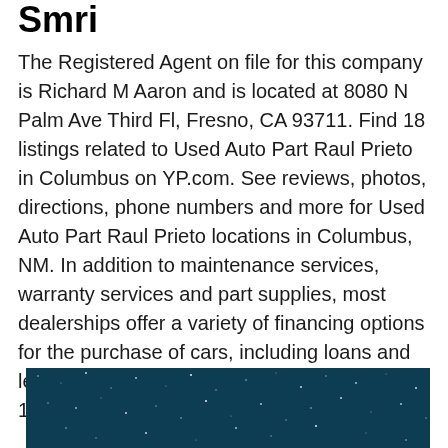Smri
The Registered Agent on file for this company is Richard M Aaron and is located at 8080 N Palm Ave Third Fl, Fresno, CA 93711. Find 18 listings related to Used Auto Part Raul Prieto in Columbus on YP.com. See reviews, photos, directions, phone numbers and more for Used Auto Part Raul Prieto locations in Columbus, NM. In addition to maintenance services, warranty services and part supplies, most dealerships offer a variety of financing options for the purchase of cars, including loans and leases. Its estimated number of employees is 10. Its office number is 6022433756.
[Figure (photo): Dark blue/teal night sky with scattered white dots resembling stars, partially visible at bottom of page]